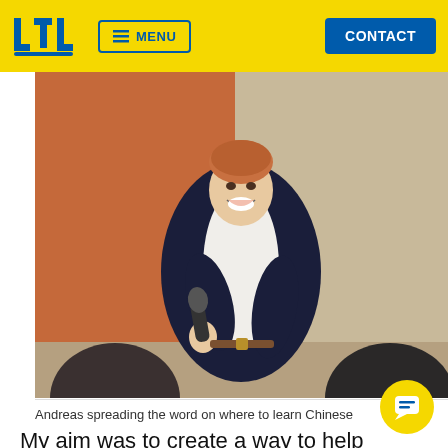LTL  ≡ MENU  CONTACT
[Figure (photo): Man in dark suit holding microphone, smiling, speaking to an audience. Brown/orange wall behind him. Two audience members visible as silhouettes in foreground.]
Andreas spreading the word on where to learn Chinese
My aim was to create a way to help students avoid all the mistakes and problems I had